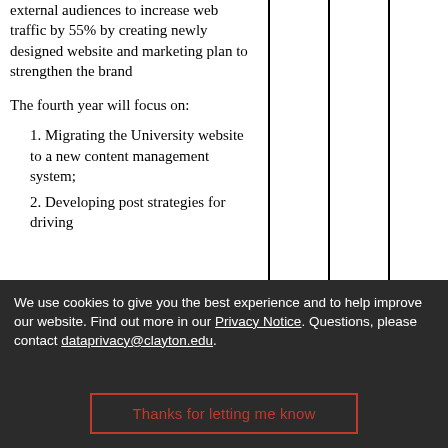external audiences to increase web traffic by 55% by creating newly designed website and marketing plan to strengthen the brand
The fourth year will focus on:
1. Migrating the University website to a new content management system;
2. Developing post strategies for driving
We use cookies to give you the best experience and to help improve our website. Find out more in our Privacy Notice. Questions, please contact dataprivacy@clayton.edu.
Thanks for letting me know